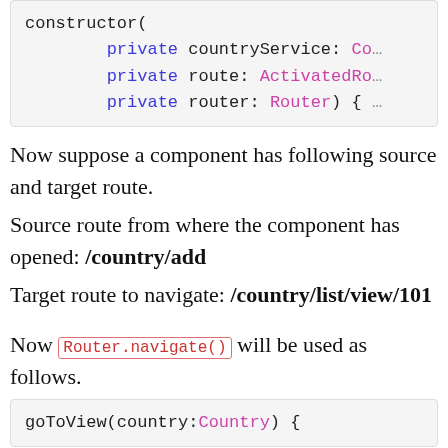[Figure (screenshot): Code block showing constructor with private parameters: countryService: Co..., private route: ActivatedRo..., private router: Router) { ...]
Now suppose a component has following source and target route.
Source route from where the component has opened: /country/add
Target route to navigate: /country/list/view/101
Now Router.navigate() will be used as follows.
[Figure (screenshot): Code block showing: goToView(country:Country) {]